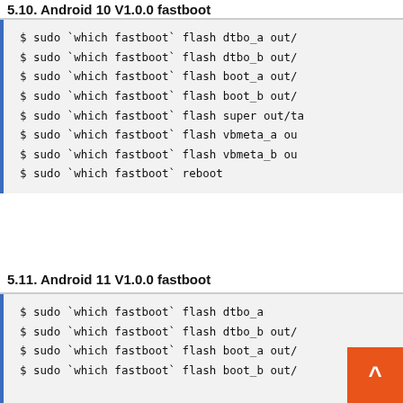5.10. Android 10 V1.0.0 fastboot
$ sudo `which fastboot` flash dtbo_a out/
$ sudo `which fastboot` flash dtbo_b out/
$ sudo `which fastboot` flash boot_a out/
$ sudo `which fastboot` flash boot_b out/
$ sudo `which fastboot` flash super out/ta
$ sudo `which fastboot` flash vbmeta_a ou
$ sudo `which fastboot` flash vbmeta_b ou
$ sudo `which fastboot` reboot
5.11. Android 11 V1.0.0 fastboot
$ sudo `which fastboot` flash dtbo_a
$ sudo `which fastboot` flash dtbo_b out/
$ sudo `which fastboot` flash boot_a out/
$ sudo `which fastboot` flash boot_b out/